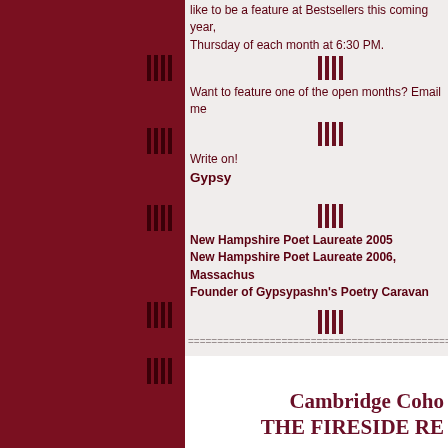like to be a feature at Bestsellers this coming year, Thursday of each month at 6:30 PM.
Want to feature one of the open months? Email me
Write on!
Gypsy
New Hampshire Poet Laureate 2005
New Hampshire Poet Laureate 2006, Massachusetts
Founder of Gypsypashn's Poetry Caravan
Contact information:
Betsy Lister
P.O. Box 496
Medford, MA 02155
U.S.A.
poetry@newslettersnstuff.com
Cambridge Cohort
THE FIRESIDE RE